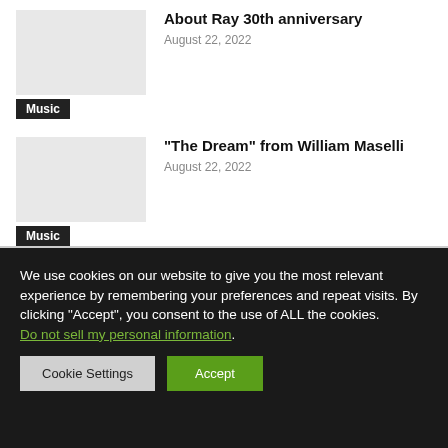About Ray 30th anniversary
August 22, 2022
Music
"The Dream" from William Maselli
August 22, 2022
Music
We use cookies on our website to give you the most relevant experience by remembering your preferences and repeat visits. By clicking “Accept”, you consent to the use of ALL the cookies.
Do not sell my personal information.
Cookie Settings
Accept